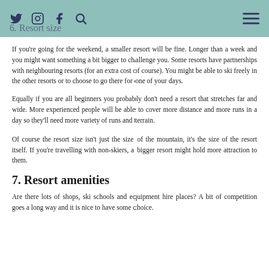6. Resort size
If you're going for the weekend, a smaller resort will be fine. Longer than a week and you might want something a bit bigger to challenge you. Some resorts have partnerships with neighbouring resorts (for an extra cost of course). You might be able to ski freely in the other resorts or to choose to go there for one of your days.
Equally if you are all beginners you probably don't need a resort that stretches far and wide. More experienced people will be able to cover more distance and more runs in a day so they'll need more variety of runs and terrain.
Of course the resort size isn't just the size of the mountain, it's the size of the resort itself. If you're travelling with non-skiers, a bigger resort might hold more attraction to them.
7. Resort amenities
Are there lots of shops, ski schools and equipment hire places? A bit of competition goes a long way and it is nice to have some choice.